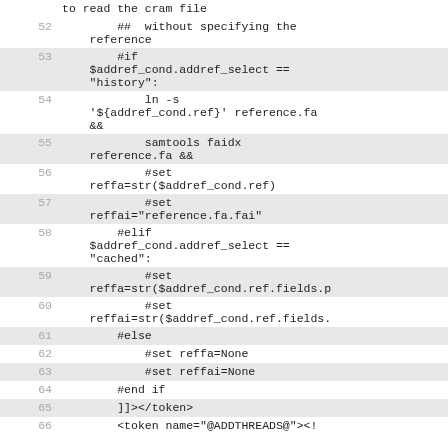Code listing lines 52-66 showing Cheetah/Nextflow template code
52:     ##  without specifying the reference
53:         #if $addref_cond.addref_select == "history":
54:             ln -s '${addref_cond.ref}' reference.fa &&
55:             samtools faidx reference.fa &&
56:             #set reffa=str($addref_cond.ref)
57:             #set reffai="reference.fa.fai"
58:         #elif $addref_cond.addref_select == "cached":
59:             #set reffa=str($addref_cond.ref.fields.p
60:             #set reffai=str($addref_cond.ref.fields.
61:         #else
62:             #set reffa=None
63:             #set reffai=None
64:         #end if
65:         ]]></token>
66:         <token name="@ADDTHREADS@"><!